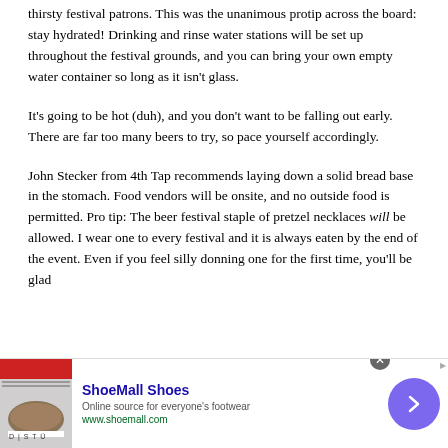thirsty festival patrons. This was the unanimous protip across the board: stay hydrated! Drinking and rinse water stations will be set up throughout the festival grounds, and you can bring your own empty water container so long as it isn't glass.
It's going to be hot (duh), and you don't want to be falling out early. There are far too many beers to try, so pace yourself accordingly.
John Stecker from 4th Tap recommends laying down a solid bread base in the stomach. Food vendors will be onsite, and no outside food is permitted. Pro tip: The beer festival staple of pretzel necklaces will be allowed. I wear one to every festival and it is always eaten by the end of the event. Even if you feel silly donning one for the first time, you'll be glad
[Figure (other): Advertisement banner for ShoeMall Shoes showing shoe image, brand name, description 'Online source for everyone's footwear', URL www.shoemall.com, close button, and arrow navigation button]